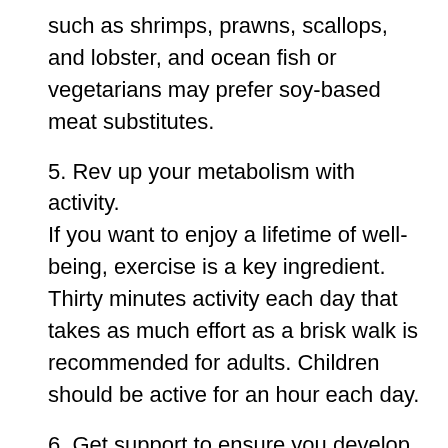such as shrimps, prawns, scallops, and lobster, and ocean fish or vegetarians may prefer soy-based meat substitutes.
5. Rev up your metabolism with activity.
If you want to enjoy a lifetime of well-being, exercise is a key ingredient. Thirty minutes activity each day that takes as much effort as a brisk walk is recommended for adults. Children should be active for an hour each day.
6. Get support to ensure you develop a healthful eating plan and reach your goal weight.
A study, “Effects of Internet Behavioral Counseling on Weight Loss in Adults at Risk of Type 2 Diabetes” shows that participants who had the